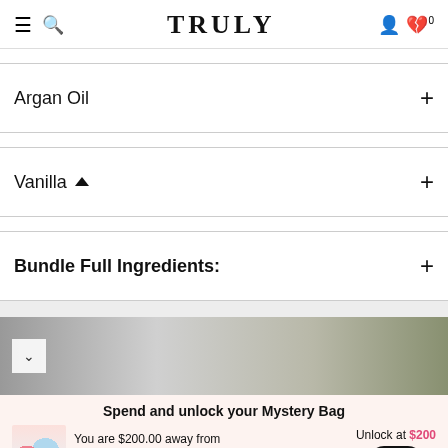TRULY
Argan Oil
Vanilla
Bundle Full Ingredients:
[Figure (photo): Partial product photo banner in grayscale/muted tones with a chevron down button]
Spend and unlock your Mystery Bag
You are $200.00 away from your FREE Mystery Bag  Unlock at $200